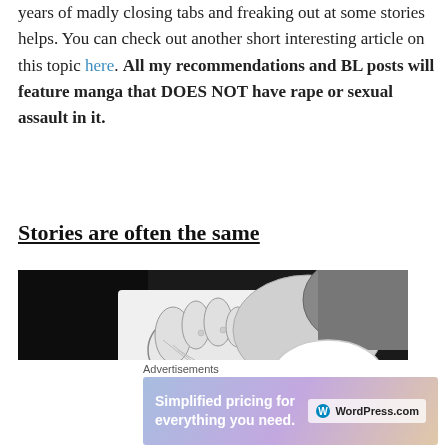years of madly closing tabs and freaking out at some stories helps. You can check out another short interesting article on this topic here. All my recommendations and BL posts will feature manga that DOES NOT have rape or sexual assault in it.
Stories are often the same
[Figure (illustration): Black and white manga illustration showing two hands holding, with a speech bubble saying 'I'LL HOLD HANDS.']
Advertisements
[Figure (screenshot): WordPress.com advertisement banner: 'Simplified pricing for everything you need.']